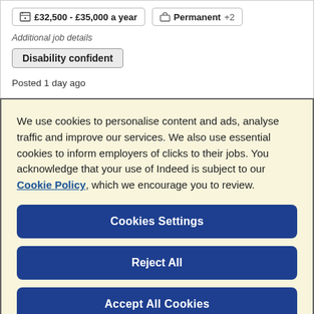£32,500 - £35,000 a year   Permanent +2
Additional job details
Disability confident
Posted 1 day ago
We use cookies to personalise content and ads, analyse traffic and improve our services. We also use essential cookies to inform employers of clicks to their jobs. You acknowledge that your use of Indeed is subject to our Cookie Policy, which we encourage you to review.
Cookies Settings
Reject All
Accept All Cookies